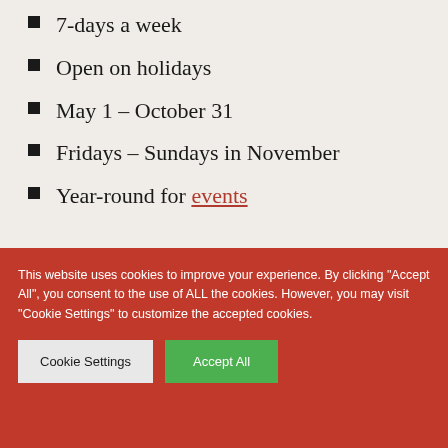7-days a week
Open on holidays
May 1 – October 31
Fridays – Sundays in November
Year-round for events
CONTACT
This website uses cookies to improve your experience. By clicking "Accept All", you consent to the use of ALL the cookies. However, you may visit "Cookie Settings" to customize the accepted cookies.